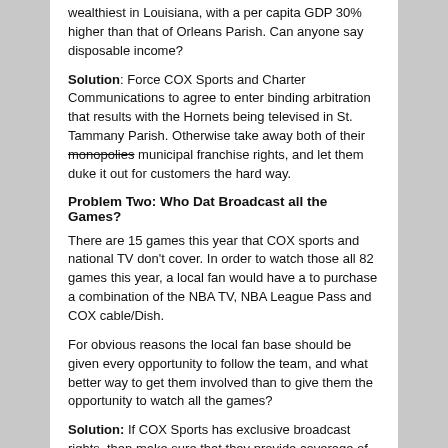wealthiest in Louisiana, with a per capita GDP 30% higher than that of Orleans Parish. Can anyone say disposable income?
Solution: Force COX Sports and Charter Communications to agree to enter binding arbitration that results with the Hornets being televised in St. Tammany Parish. Otherwise take away both of their monopolies municipal franchise rights, and let them duke it out for customers the hard way.
Problem Two: Who Dat Broadcast all the Games?
There are 15 games this year that COX sports and national TV don't cover. In order to watch those all 82 games this year, a local fan would have a to purchase a combination of the NBA TV, NBA League Pass and COX cable/Dish.
For obvious reasons the local fan base should be given every opportunity to follow the team, and what better way to get them involved than to give them the opportunity to watch all the games?
Solution: If COX Sports has exclusive broadcast rights, then make sure that they provide coverage of every game unavailable on national TV.
Problem three: 249 channels for the price of one?